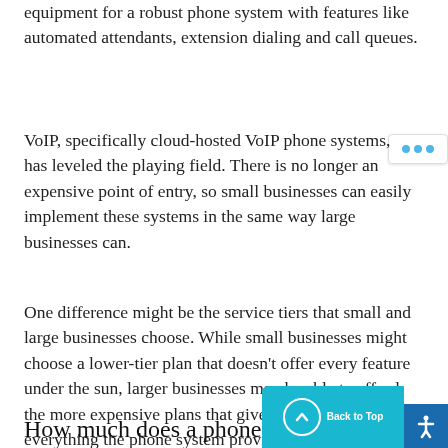equipment for a robust phone system with features like automated attendants, extension dialing and call queues.
VoIP, specifically cloud-hosted VoIP phone systems, has leveled the playing field. There is no longer an expensive point of entry, so small businesses can easily implement these systems in the same way large businesses can.
One difference might be the service tiers that small and large businesses choose. While small businesses might choose a lower-tier plan that doesn't offer every feature under the sun, larger businesses may be able to afford the more expensive plans that give them access to everything the phone system provider offers.
How much does a phone system cost for small businesses?